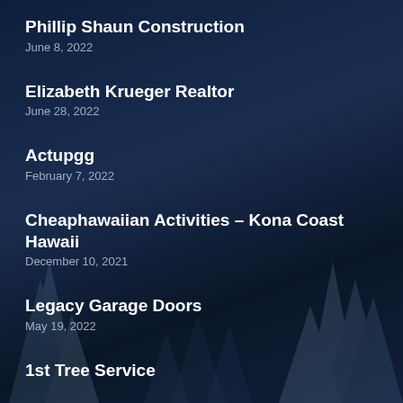Phillip Shaun Construction
June 8, 2022
Elizabeth Krueger Realtor
June 28, 2022
Actupgg
February 7, 2022
Cheaphawaiian Activities – Kona Coast Hawaii
December 10, 2021
Legacy Garage Doors
May 19, 2022
1st Tree Service